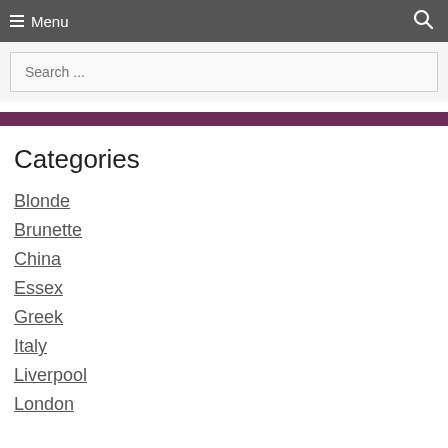Menu
Search ...
Categories
Blonde
Brunette
China
Essex
Greek
Italy
Liverpool
London